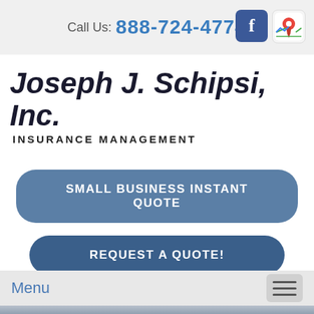Call Us: 888-724-4774
Joseph J. Schipsi, Inc. Insurance Management
SMALL BUSINESS INSTANT QUOTE
REQUEST A QUOTE!
Menu
[Figure (photo): Group of business professionals smiling, blurred background]